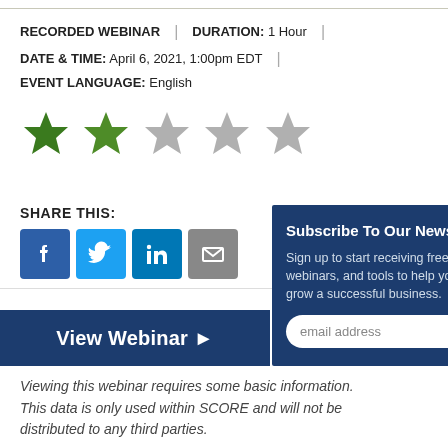RECORDED WEBINAR | DURATION: 1 Hour | DATE & TIME: April 6, 2021, 1:00pm EDT | EVENT LANGUAGE: English
[Figure (illustration): Star rating: 2 out of 5 stars — first two stars filled green, remaining three grey]
SHARE THIS:
[Figure (infographic): Social share icons: Facebook (blue), Twitter (light blue), LinkedIn (blue), Email (grey)]
[Figure (infographic): Newsletter subscription popup with title 'Subscribe To Our Newsletter', body text about signing up for free webinars and tools, and an email address input field]
View Webinar ▶
Viewing this webinar requires some basic information. This data is only used within SCORE and will not be distributed to any third parties.